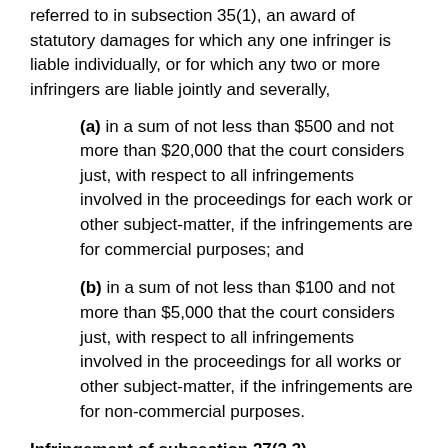referred to in subsection 35(1), an award of statutory damages for which any one infringer is liable individually, or for which any two or more infringers are liable jointly and severally,
(a) in a sum of not less than $500 and not more than $20,000 that the court considers just, with respect to all infringements involved in the proceedings for each work or other subject-matter, if the infringements are for commercial purposes; and
(b) in a sum of not less than $100 and not more than $5,000 that the court considers just, with respect to all infringements involved in the proceedings for all works or other subject-matter, if the infringements are for non-commercial purposes.
Infringement of subsection 27(2.3)
(1.1) An infringement under subsection 27(2.3) may